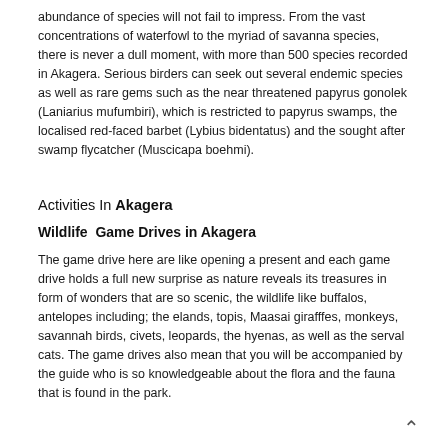abundance of species will not fail to impress. From the vast concentrations of waterfowl to the myriad of savanna species, there is never a dull moment, with more than 500 species recorded in Akagera. Serious birders can seek out several endemic species as well as rare gems such as the near threatened papyrus gonolek (Laniarius mufumbiri), which is restricted to papyrus swamps, the localised red-faced barbet (Lybius bidentatus) and the sought after swamp flycatcher (Muscicapa boehmi).
Activities In Akagera
Wildlife  Game Drives in Akagera
The game drive here are like opening a present and each game drive holds a full new surprise as nature reveals its treasures in form of wonders that are so scenic, the wildlife like buffalos, antelopes including; the elands, topis, Maasai girafffes, monkeys, savannah birds, civets, leopards, the hyenas, as well as the serval cats. The game drives also mean that you will be accompanied by the guide who is so knowledgeable about the flora and the fauna that is found in the park.